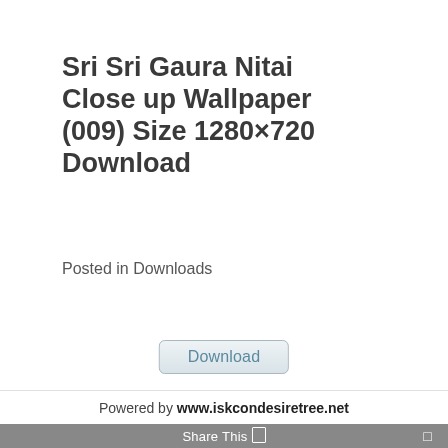Sri Sri Gaura Nitai Close up Wallpaper (009) Size 1280×720 Download
Posted in Downloads
[Figure (other): A download button with rounded rectangle border, light blue-grey gradient background, reading 'Download']
Powered by www.iskcondesiretree.net
Share This